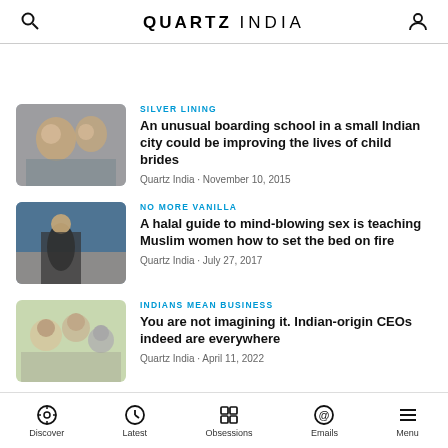QUARTZ INDIA
SILVER LINING — An unusual boarding school in a small Indian city could be improving the lives of child brides — Quartz India · November 10, 2015
NO MORE VANILLA — A halal guide to mind-blowing sex is teaching Muslim women how to set the bed on fire — Quartz India · July 27, 2017
INDIANS MEAN BUSINESS — You are not imagining it. Indian-origin CEOs indeed are everywhere — Quartz India · April 11, 2022
Discover | Latest | Obsessions | Emails | Menu